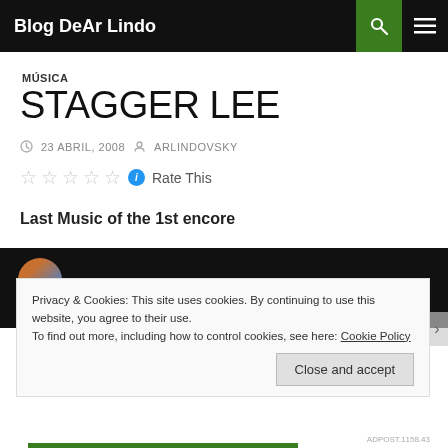Blog DeAr Lindo
MÚSICA
STAGGER LEE
23 ABRIL, 2008  ARLINDOVSKY
Rate This
Last Music of the 1st encore
[Figure (screenshot): Video thumbnail showing a circular avatar on black background]
Privacy & Cookies: This site uses cookies. By continuing to use this website, you agree to their use.
To find out more, including how to control cookies, see here: Cookie Policy
Close and accept